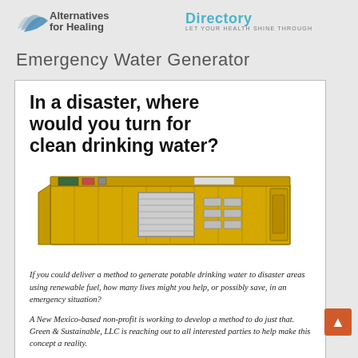Alternatives for Healing Directory — Let Your Health Shine Through
Emergency Water Generator
[Figure (infographic): Advertisement for an emergency water generator. Contains bold headline: 'In a disaster, where would you turn for clean drinking water?', an illustration of a yellow shipping container converted into a water purification unit, italic body text about delivering potable water to disaster areas using renewable fuel, text about a New Mexico-based non-profit Green & Sustainable LLC, and a call to action 'Learn more at: www.GreenAndSustainable.org']